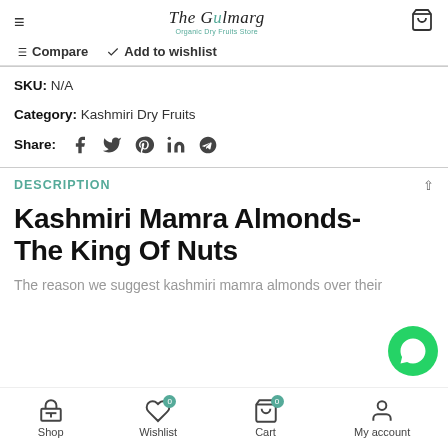The Gulmarg Organic Dry Fruits Store
Compare   Add to wishlist
SKU: N/A
Category: Kashmiri Dry Fruits
Share:
DESCRIPTION
Kashmiri Mamra Almonds- The King Of Nuts
The reason we suggest kashmiri mamra almonds over their
Shop   Wishlist   Cart   My account